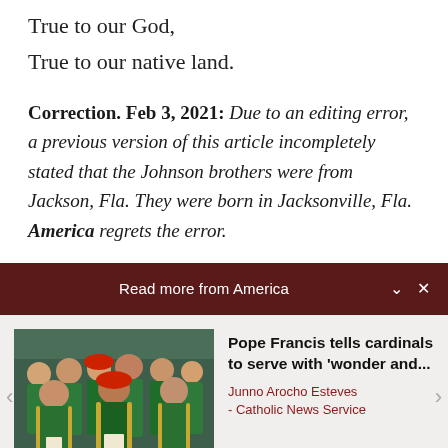True to our God,
True to our native land.
Correction. Feb 3, 2021: Due to an editing error, a previous version of this article incompletely stated that the Johnson brothers were from Jackson, Fla. They were born in Jacksonville, Fla. America regrets the error.
Read more from America
[Figure (photo): Photo of Catholic cardinals in green vestments at a religious ceremony]
Pope Francis tells cardinals to serve with 'wonder and...
Junno Arocho Esteves - Catholic News Service